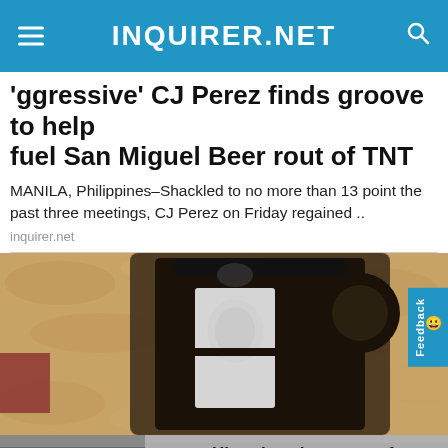INQUIRER.NET
'Aggressive' CJ Perez finds groove to help fuel San Miguel Beer rout of TNT
MANILA, Philippines–Shackled to no more than 13 point the past three meetings, CJ Perez on Friday regained ..
inquirer.net
[Figure (photo): Close-up photo of a lantern or outdoor light fixture mounted on a textured stone wall]
[Figure (screenshot): Video player overlay showing media error message: 'The media could not be loaded, either because the server or network failed or because the format is not supported.' with a news segment about a historian sharing proof on Rizal's height, with a spinner loading icon and an X close button at the bottom.]